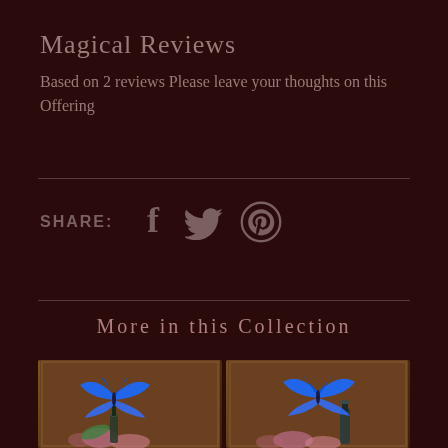Magical Reviews
Based on 2 reviews Please leave your thoughts on this Offering
SHARE:
[Figure (infographic): Social share icons: Facebook, Twitter, Pinterest]
More in this Collection
[Figure (photo): Product photo with blue butterfly on ornate book with flowers and dropper bottle]
[Figure (photo): Product photo with blue butterfly on ornate book with flowers and nail polish bottle]